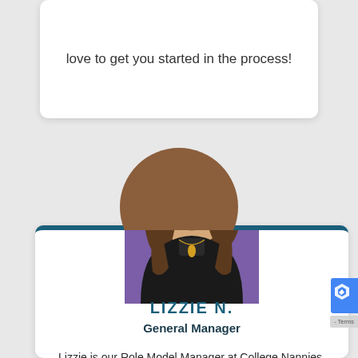love to get you started in the process!
[Figure (photo): Professional headshot of Lizzie N., a woman with long brown hair, wearing a black turtleneck and gold necklace, photographed against a purple background.]
LIZZIE N.
General Manager
Lizzie is our Role Model Manager at College Nannies, Sitters and Tutors of Seattle, Redmond, and Bellevue where she manages and trains our exceptional